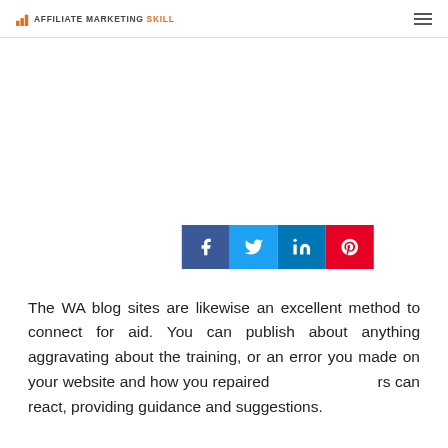AFFILIATE MARKETING SKILL
The WA blog sites are likewise an excellent method to connect for aid. You can publish about anything aggravating about the training, or an error you made on your website and how you repaired [social share bar] ers can react, providing guidance and suggestions.